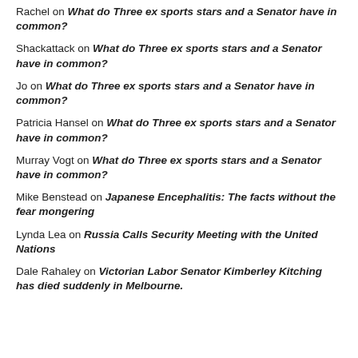Rachel on What do Three ex sports stars and a Senator have in common?
Shackattack on What do Three ex sports stars and a Senator have in common?
Jo on What do Three ex sports stars and a Senator have in common?
Patricia Hansel on What do Three ex sports stars and a Senator have in common?
Murray Vogt on What do Three ex sports stars and a Senator have in common?
Mike Benstead on Japanese Encephalitis: The facts without the fear mongering
Lynda Lea on Russia Calls Security Meeting with the United Nations
Dale Rahaley on Victorian Labor Senator Kimberley Kitching has died suddenly in Melbourne.